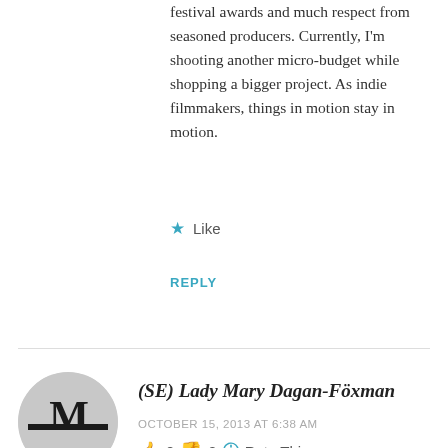festival awards and much respect from seasoned producers. Currently, I'm shooting another micro-budget while shopping a bigger project. As indie filmmakers, things in motion stay in motion.
★ Like
REPLY
(SE) Lady Mary Dagan-Föxman
OCTOBER 15, 2013 AT 6:38 AM
👍 0 👎 2 ℹ️ Rate This